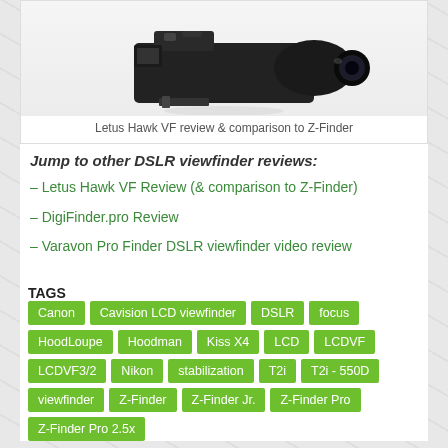[Figure (photo): Letus Hawk VF camera viewfinder product photo on white background]
Letus Hawk VF review & comparison to Z-Finder
Jump to other DSLR viewfinder reviews:
– Letus Hawk VF Review (& comparison to Z-Finder)
– DigiFinder.pro Review
– Varavon Pro Finder DSLR viewfinder video review
TAGS: Canon, Cavision LCD viewfinder, DSLR, focus, HoodLoupe, Hoodman, Kiss X4, LCD, LCDVF, LCDVF3/2, Nikon, stabilization, T2i, T2i - 550D, viewfinder, Z-Finder, Z-Finder Jr., Z-Finder Pro, Z-Finder Pro 2.5x